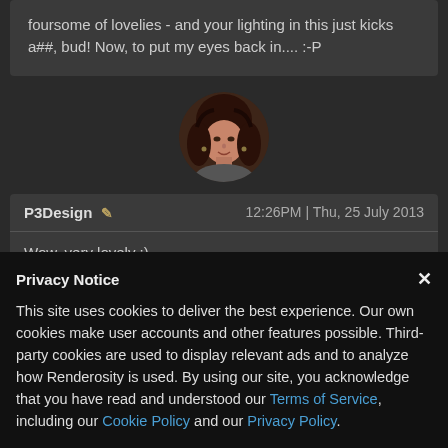foursome of lovelies - and your lighting in this just kicks a##, bud! Now, to put my eyes back in.... :-P
[Figure (photo): Circular avatar photo of a woman with curly dark brown/auburn hair, smiling slightly, dark background]
P3Design  ✏  12:26PM | Thu, 25 July 2013
Wow, very lovely :)
Privacy Notice
This site uses cookies to deliver the best experience. Our own cookies make user accounts and other features possible. Third-party cookies are used to display relevant ads and to analyze how Renderosity is used. By using our site, you acknowledge that you have read and understood our Terms of Service, including our Cookie Policy and our Privacy Policy.